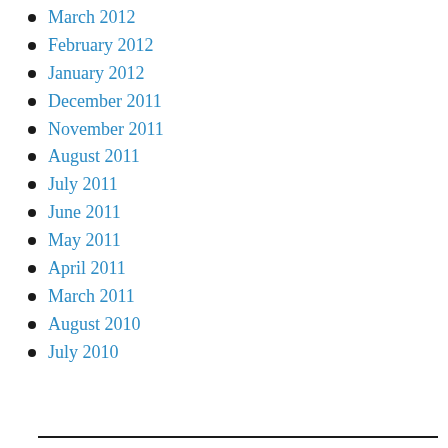March 2012
February 2012
January 2012
December 2011
November 2011
August 2011
July 2011
June 2011
May 2011
April 2011
March 2011
August 2010
July 2010